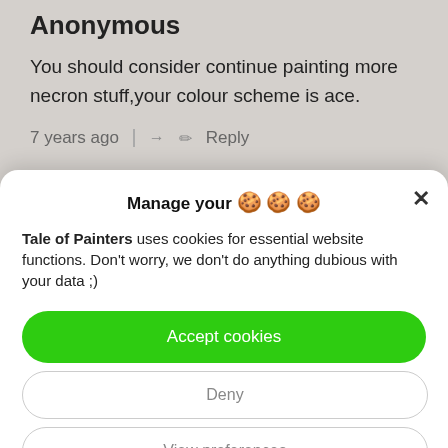Anonymous
You should consider continue painting more necron stuff,your colour scheme is ace.
7 years ago  Reply
Manage your 🍪🍪🍪
Tale of Painters uses cookies for essential website functions. Don't worry, we don't do anything dubious with your data ;)
Accept cookies
Deny
View preferences